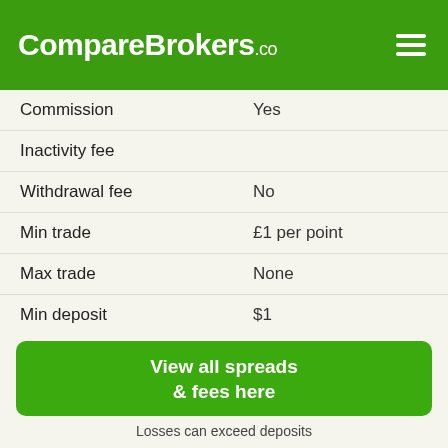CompareBrokers.co
|  |  |
| --- | --- |
| Commission | Yes |
| Inactivity fee |  |
| Withdrawal fee | No |
| Min trade | £1 per point |
| Max trade | None |
| Min deposit | $1 |
View all spreads & fees here
Losses can exceed deposits
Funding Methods
|  |  |
| --- | --- |
| Credit card | ✓ |
| Bank transfer | ✓ |